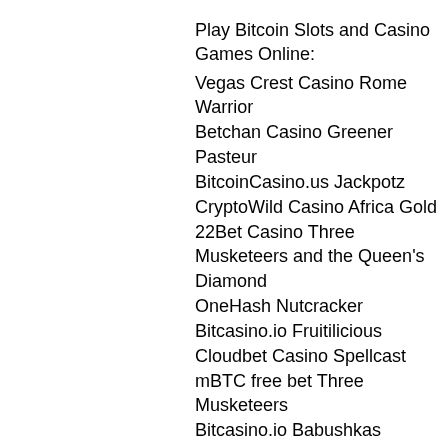Play Bitcoin Slots and Casino Games Online:
Vegas Crest Casino Rome Warrior
Betchan Casino Greener Pasteur
BitcoinCasino.us Jackpotz
CryptoWild Casino Africa Gold
22Bet Casino Three Musketeers and the Queen's Diamond
OneHash Nutcracker
Bitcasino.io Fruitilicious
Cloudbet Casino Spellcast
mBTC free bet Three Musketeers
Bitcasino.io Babushkas
Betchan Casino Pablo Picasslot
FortuneJack Casino Madder Scientist
1xSlots Casino Marswood Party
Mars Casino 7th Heaven
Playamo Casino Tailgating
https://www.terriwatsonbeauty.com/profile/kloockhamadz/profile